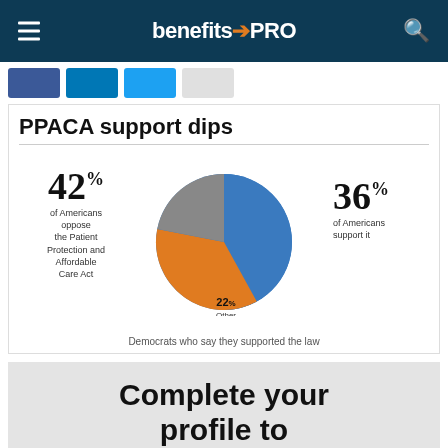benefitsPRO
[Figure (pie-chart): Pie chart showing 42% of Americans oppose the Patient Protection and Affordable Care Act, 36% support it, and 22% Other. Democrats who say they supported the law.]
Democrats who say they supported the law
Complete your profile to continue reading and get FREE